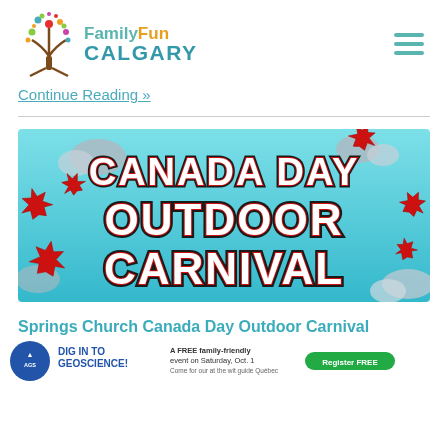FamilyFun Calgary
Continue Reading »
[Figure (illustration): Canada Day Outdoor Carnival promotional banner with red maple leaves, grey stones, and bold red and white stylized text reading 'CANADA DAY OUTDOOR CARNIVAL' on a teal/light blue background.]
Springs Church Canada Day Outdoor Carnival
Grab your family and friends and head to the Springs Church Cana… 1, 2022,
[Figure (infographic): Advertisement banner: 'DIG IN TO GEOSCIENCE! A FREE family-friendly event on Saturday, Oct. 1' with Register FREE button.]